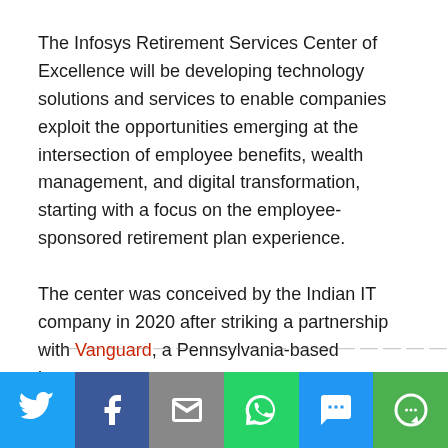The Infosys Retirement Services Center of Excellence will be developing technology solutions and services to enable companies exploit the opportunities emerging at the intersection of employee benefits, wealth management, and digital transformation, starting with a focus on the employee-sponsored retirement plan experience.
The center was conceived by the Indian IT company in 2020 after striking a partnership with Vanguard, a Pennsylvania-based investment management company.
[Figure (infographic): Social sharing button bar with icons for Twitter, Facebook, Email, WhatsApp, SMS, and More options]